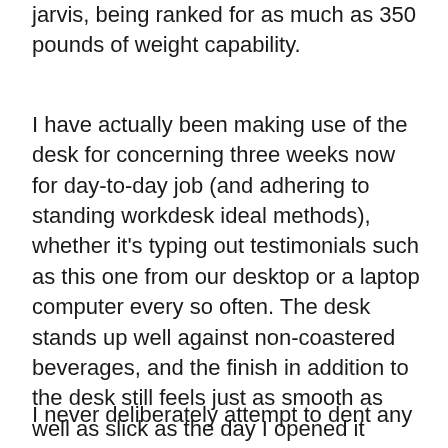Jarvis, being ranked for as much as 350 pounds of weight capability.
I have actually been making use of the desk for concerning three weeks now for day-to-day job (and adhering to standing workdesk ideal methods), whether it's typing out testimonials such as this one from our desktop or a laptop computer every so often. The desk stands up well against non-coastered beverages, and the finish in addition to the desk still feels just as smooth as well as slick as the day I opened it regardless of days of sweaty wrists wresting on it and also multiple wipe downs with a rag.
I never deliberately attempt to dent any